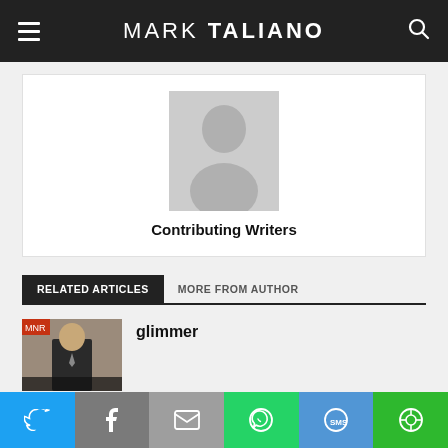MARK TALIANO
[Figure (photo): Default avatar placeholder showing a grey silhouette of a person on grey background]
Contributing Writers
RELATED ARTICLES  MORE FROM AUTHOR
[Figure (screenshot): Thumbnail image of a man in a suit speaking, appears to be in an official setting]
glimmer
[Figure (infographic): Social share bar with Twitter, Facebook, Email, WhatsApp, SMS, and share icons]